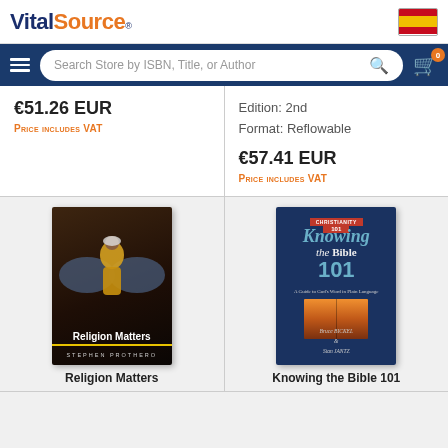[Figure (screenshot): VitalSource logo with 'Vital' in dark blue and 'Source' in orange, with registered trademark symbol]
[Figure (screenshot): Spanish flag icon in top-right corner]
[Figure (screenshot): Navigation bar with hamburger menu, search bar 'Search Store by ISBN, Title, or Author', and shopping cart with badge showing 0]
€51.26 EUR
Price includes VAT
Edition: 2nd
Format: Reflowable
€57.41 EUR
Price includes VAT
[Figure (photo): Book cover: Religion Matters by Stephen Prothero - dark background with figure in yellow clothing]
Religion Matters
[Figure (illustration): Book cover: Knowing the Bible 101 by Bruce Bickel & Stan Jantz - Christianity 101 series, dark blue cover]
Knowing the Bible 101